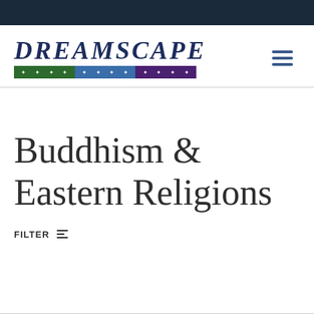[Figure (logo): Dreamscape logo with italic serif text in navy blue and a tricolor star bar below in green, blue, and purple]
Buddhism & Eastern Religions
FILTER